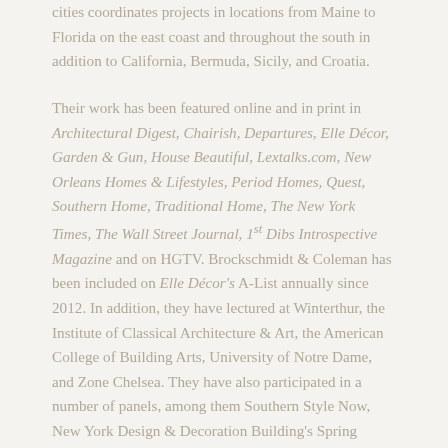cities coordinates projects in locations from Maine to Florida on the east coast and throughout the south in addition to California, Bermuda, Sicily, and Croatia.
Their work has been featured online and in print in Architectural Digest, Chairish, Departures, Elle Décor, Garden & Gun, House Beautiful, Lextalks.com, New Orleans Homes & Lifestyles, Period Homes, Quest, Southern Home, Traditional Home, The New York Times, The Wall Street Journal, 1st Dibs Introspective Magazine and on HGTV. Brockschmidt & Coleman has been included on Elle Décor's A-List annually since 2012. In addition, they have lectured at Winterthur, the Institute of Classical Architecture & Art, the American College of Building Arts, University of Notre Dame, and Zone Chelsea. They have also participated in a number of panels, among them Southern Style Now, New York Design & Decoration Building's Spring Market, What's New, What's Next at the New York Design Center, and a Chairish Podcast.
Their dramatic rooms and settings created for design-oriented